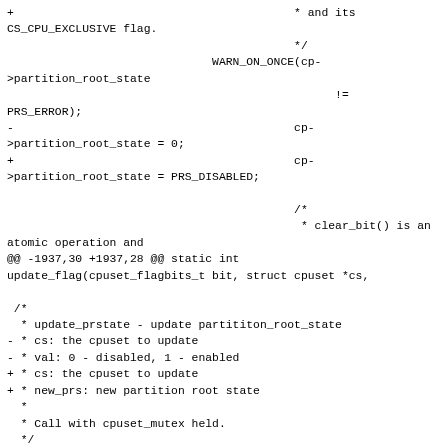Code diff showing changes to cpuset partition_root_state handling and update_prstate function signature